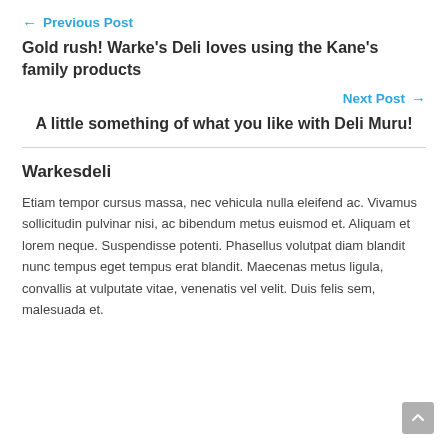← Previous Post
Gold rush! Warke's Deli loves using the Kane's family products
Next Post →
A little something of what you like with Deli Muru!
Warkesdeli
Etiam tempor cursus massa, nec vehicula nulla eleifend ac. Vivamus sollicitudin pulvinar nisi, ac bibendum metus euismod et. Aliquam et lorem neque. Suspendisse potenti. Phasellus volutpat diam blandit nunc tempus eget tempus erat blandit. Maecenas metus ligula, convallis at vulputate vitae, venenatis vel velit. Duis felis sem, malesuada et.